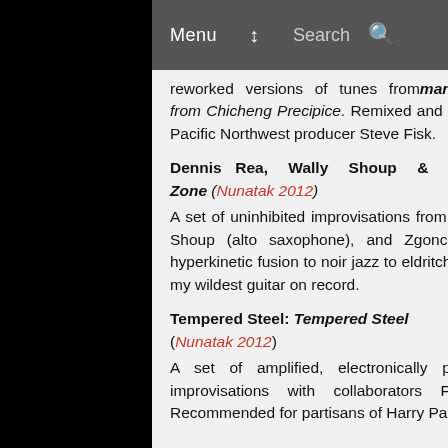Menu  Search
reworked versions of tunes from manifest deNsity and Views from Chicheng Precipice. Remixed and coproduced by legendary Pacific Northwest producer Steve Fisk.
Dennis Rea, Wally Shoup & Tom Zgonc: Subduction Zone (Nunatak 2012) A set of uninhibited improvisations from Seattle improvisers Rea, Shoup (alto saxophone), and Zgonc (drums), ranging from hyperkinetic fusion to noir jazz to eldritch experimentalia. Some of my wildest guitar on record.
Tempered Steel: Tempered Steel (Nunatak 2012) A set of amplified, electronically processed thumb piano improvisations with collaborators Ffej and Frank Junk. Recommended for partisans of Harry Partch, John Cage's